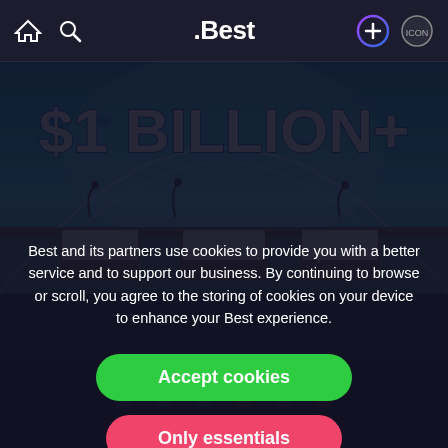.Best navigation bar with home, search, .Best logo, add (+) and profile icons
[Figure (photo): Underwater restaurant with glass dome ceiling showing ocean water and fish above, dining tables set with white linens, with large '$1 BILLION+' text overlay at the top]
Best and its partners use cookies to provide you with a better service and to support our business. By continuing to browse or scroll, you agree to the storing of cookies on your device to enhance your Best experience.
Accept cookies
Only essentials
Copyright © .Best. All rights reserved.
Learn more about our privacy policy.